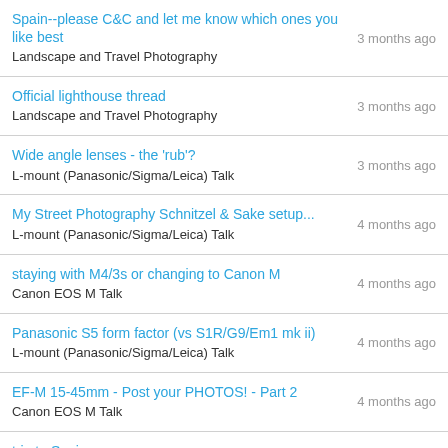Spain--please C&C and let me know which ones you like best | Landscape and Travel Photography | 3 months ago
Official lighthouse thread | Landscape and Travel Photography | 3 months ago
Wide angle lenses - the 'rub'? | L-mount (Panasonic/Sigma/Leica) Talk | 3 months ago
My Street Photography Schnitzel & Sake setup... | L-mount (Panasonic/Sigma/Leica) Talk | 4 months ago
staying with M4/3s or changing to Canon M | Canon EOS M Talk | 4 months ago
Panasonic S5 form factor (vs S1R/G9/Em1 mk ii) | L-mount (Panasonic/Sigma/Leica) Talk | 4 months ago
EF-M 15-45mm - Post your PHOTOS! - Part 2 | Canon EOS M Talk | 4 months ago
trip to Spain | Landscape and Travel Photography | 4 months ago
Best Panasonic camera for photographs? | Micro Four Thirds Talk | 4 months ago